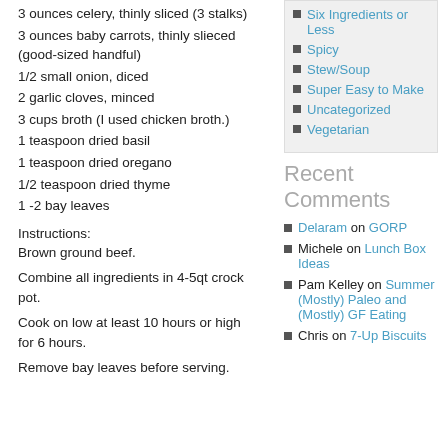3 ounces celery, thinly sliced (3 stalks)
3 ounces baby carrots, thinly slieced (good-sized handful)
1/2 small onion, diced
2 garlic cloves, minced
3 cups broth (I used chicken broth.)
1 teaspoon dried basil
1 teaspoon dried oregano
1/2 teaspoon dried thyme
1 -2 bay leaves
Instructions:
Brown ground beef.
Combine all ingredients in 4-5qt crock pot.
Cook on low at least 10 hours or high for 6 hours.
Remove bay leaves before serving.
Six Ingredients or Less
Spicy
Stew/Soup
Super Easy to Make
Uncategorized
Vegetarian
Recent Comments
Delaram on GORP
Michele on Lunch Box Ideas
Pam Kelley on Summer (Mostly) Paleo and (Mostly) GF Eating
Chris on 7-Up Biscuits